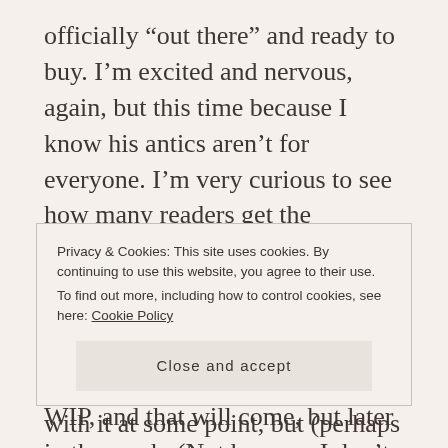officially “out there” and ready to buy. I’m excited and nervous, again, but this time because I know his antics aren’t for everyone. I’m very curious to see how many readers get the message of Jack’s story, and how many can’t get past his dirty deeds. Stay tuned.
I know I promised a sample of a WIP, and that will come, but later in the week. (Not because I don’t have one, but because I haven’t gotten it ready yet. Sorry.)
Privacy & Cookies: This site uses cookies. By continuing to use this website, you agree to their use.
To find out more, including how to control cookies, see here: Cookie Policy
with it at some point, but (perhaps mercifully)